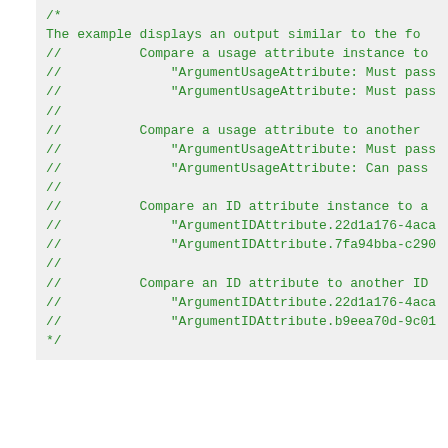[Figure (screenshot): Code block showing commented output lines in green monospace font on light gray background, showing comparisons of usage and ID attributes with ArgumentUsageAttribute and ArgumentIDAttribute strings]
备注
이 예제는 Equals 메서드에서 사용자 지정 비교 논리를 반환하고 두 개체 인스턴스를 비교하는 방법 및 유형에 대한